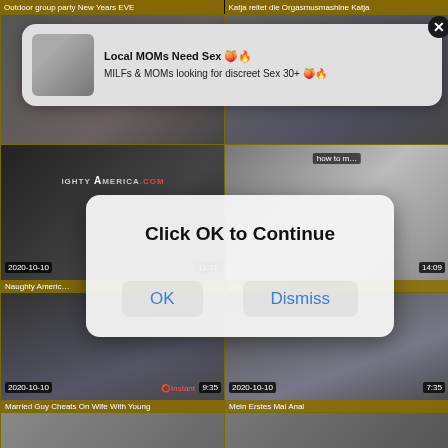Outdoor group party New Years EVE | Katja reitet die Orgasmusmashine Katja
[Figure (screenshot): Video thumbnail grid showing adult content website with multiple video thumbnails. Top-left cell shows a room scene with timestamp area. Top-right cell partially visible. Middle row shows Naughty America branded video and another video thumbnail. Bottom row shows two more video thumbnails dated 2020-10-10 with titles 'Married Guy Cheats On Wife With Young' and 'Mein Erstes Mal Anal'. Bottom row partially visible. Over the grid: a notification popup 'Local MOMs Need Sex - MILFs & MOMs looking for discreet Sex 30+' with a close button. A modal dialog 'Click OK to Continue' with OK and Dismiss buttons is centered on screen.]
Local MOMs Need Sex 🍑🔥
MILFs & MOMs looking for discreet Sex 30+ 🍑🔥
Click OK to Continue
OK
Dismiss
Naughty America
Married Guy Cheats On Wife With Young
Mein Erstes Mal Anal